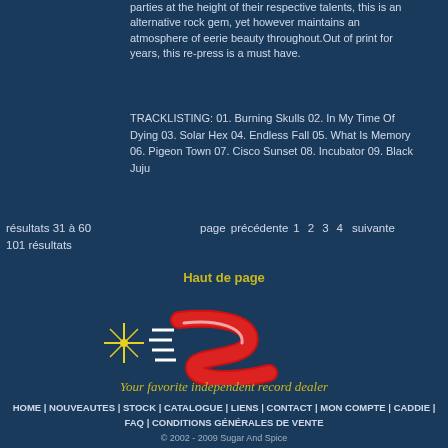parties at the height of their respective talents, this is an alternative rock gem, yet however maintains an atmosphere of eerie beauty throughout.Out of print for years, this re-press is a must have.
TRACKLISTING: 01. Burning Skulls 02. In My Time Of Dying 03. Solar Hex 04. Endless Fall 05. What Is Memory 06. Pigeon Town 07. Cisco Sunset 08. Incubator 09. Black Juju
résultats 31 à 60
101 résultats
page précédente 1 2 3 4 suivante
Haut de page
[Figure (logo): Sugar and Spice record store logo: red stylized S with speed lines and a yellow star, with tagline 'Your favorite independent record dealer']
HOME | NOUVEAUTES | STOCK | CATALOGUE | LIENS | CONTACT | MON COMPTE | CADDIE | FAQ | CONDITIONS GÉNÉRALES DE VENTE
© 2002 - 2009 Sugar And Spice